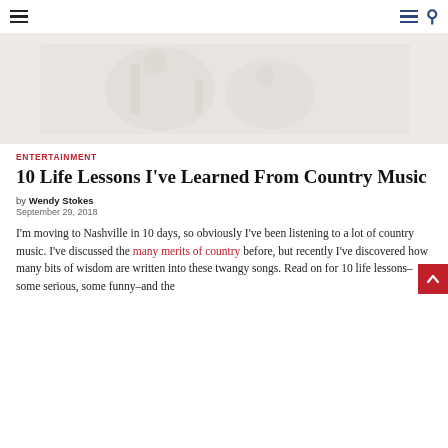Navigation header with hamburger menu and search icon
[Figure (photo): Faint/washed-out hero image with light gray background, barely visible figures]
ENTERTAINMENT
10 Life Lessons I've Learned From Country Music
by Wendy Stokes
September 29, 2018
I'm moving to Nashville in 10 days, so obviously I've been listening to a lot of country music. I've discussed the many merits of country before, but recently I've discovered how many bits of wisdom are written into these twangy songs. Read on for 10 life lessons–some serious, some funny–and the